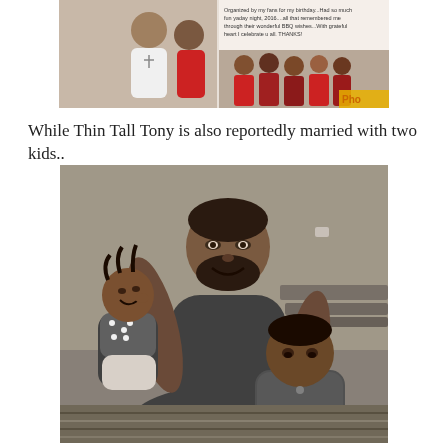[Figure (photo): Partial screenshot/collage showing a man with a woman and group party photos, with a text overlay about birthday wishes.]
While Thin Tall Tony is also reportedly married with two kids..
[Figure (photo): Black and white photo of a bearded man holding a toddler girl on his left and with a young boy leaning against him on his right, all sitting/crouching together.]